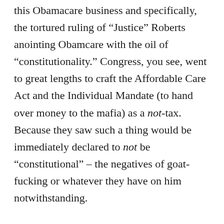this Obamacare business and specifically, the tortured ruling of “Justice” Roberts anointing Obamcare with the oil of “constitutionality.” Congress, you see, went to great lengths to craft the Affordable Care Act and the Individual Mandate (to hand over money to the mafia) as a not-tax. Because they saw such a thing would be immediately declared to not be “constitutional” – the negatives of goat-fucking or whatever they have on him notwithstanding.
Hence, there are none of the usual enforcement mechanisms in the act.
But Mr. “Justice” Roberts, anointed the ACA’s